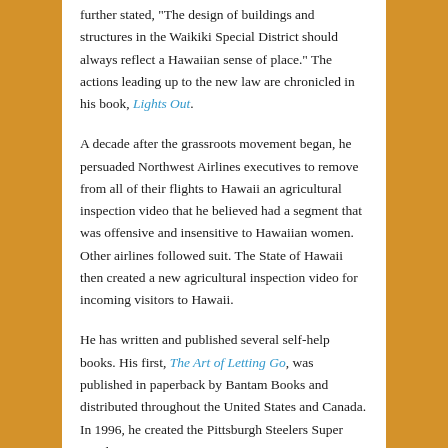further stated, "The design of buildings and structures in the Waikiki Special District should always reflect a Hawaiian sense of place." The actions leading up to the new law are chronicled in his book, Lights Out.
A decade after the grassroots movement began, he persuaded Northwest Airlines executives to remove from all of their flights to Hawaii an agricultural inspection video that he believed had a segment that was offensive and insensitive to Hawaiian women. Other airlines followed suit. The State of Hawaii then created a new agricultural inspection video for incoming visitors to Hawaii.
He has written and published several self-help books. His first, The Art of Letting Go, was published in paperback by Bantam Books and distributed throughout the United States and Canada. In 1996, he created the Pittsburgh Steelers Super Bowl Teams poster. Over 60,000 posters were printed and distributed as gifts to Fan Appreciation Day game attendees in October of that year.
From 2007 to 2015, he traveled from Honolulu to